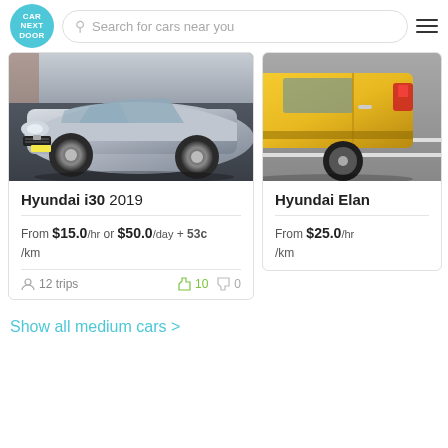[Figure (logo): Car Next Door circular teal logo]
Search for cars near you
[Figure (photo): Silver Hyundai i30 2019 car photo, front-side angle]
Hyundai i30 2019
From $15.0 /hr or $50.0 /day + 53c /km
12 trips
10 thumbs up, 0 thumbs down
[Figure (photo): Yellow Hyundai Elantra car photo, side angle, partially visible]
Hyundai Elan...
From $25.0 /hr /km
Show all medium cars >